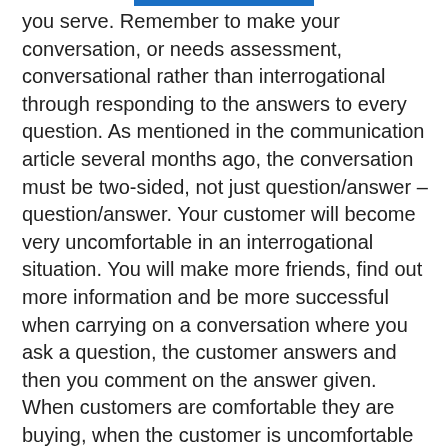you serve. Remember to make your conversation, or needs assessment, conversational rather than interrogational through responding to the answers to every question. As mentioned in the communication article several months ago, the conversation must be two-sided, not just question/answer – question/answer. Your customer will become very uncomfortable in an interrogational situation. You will make more friends, find out more information and be more successful when carrying on a conversation where you ask a question, the customer answers and then you comment on the answer given. When customers are comfortable they are buying, when the customer is uncomfortable they tend to leave without making a purchase. This particular subject of the needs assessment process takes a tremendous amount of practice. Give the time and effort necessary to make yourself an expert at the needs